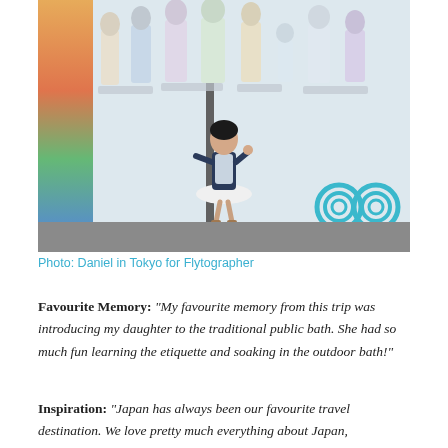[Figure (photo): A young girl poses in front of a retail store window display in Tokyo. The window is filled with mannequins wearing casual children's clothing. The girl stands in the center making a peace sign, wearing a navy jacket, light dress, and sandals. Decorative teal circular patterns are visible on the right side of the window. The left side of the window shows colorful display elements.]
Photo: Daniel in Tokyo for Flytographer
Favourite Memory: “My favourite memory from this trip was introducing my daughter to the traditional public bath. She had so much fun learning the etiquette and soaking in the outdoor bath!”
Inspiration: “Japan has always been our favourite travel destination. We love pretty much everything about Japan,